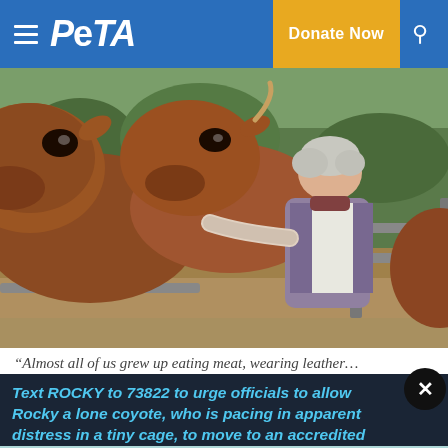PETA — Donate Now
[Figure (photo): A woman with short grey hair reaches through a fence to touch/feed large brown cows in an outdoor farm setting with wooden fencing and trees in background.]
“Almost all of us grew up eating meat, wearing leather…
Text ROCKY to 73822 to urge officials to allow Rocky a lone coyote, who is pacing in apparent distress in a tiny cage, to move to an accredited sanctuary.